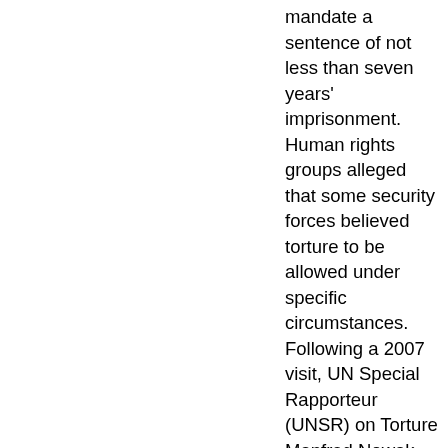mandate a sentence of not less than seven years' imprisonment. Human rights groups alleged that some security forces believed torture to be allowed under specific circumstances. Following a 2007 visit, UN Special Rapporteur (UNSR) on Torture Manfred Nowak concluded that "torture is widely practiced in Sri Lanka." No accurate, publicly released statistics on reported torture cases were available. Civil society groups